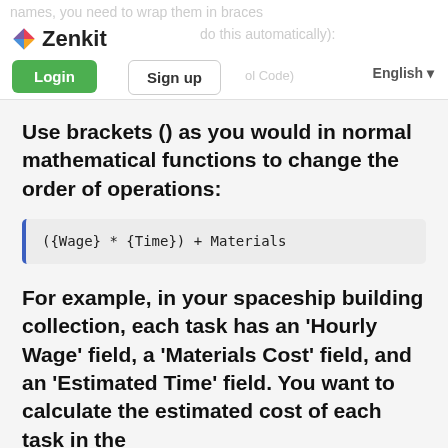names, you need to wrap them in braces
[Figure (logo): Zenkit logo with diamond icon and wordmark]
do this automatically):
Login | Sign up | ol Code) | English
Use brackets () as you would in normal mathematical functions to change the order of operations:
For example, in your spaceship building collection, each task has an ‘Hourly Wage’ field, a ‘Materials Cost’ field, and an ‘Estimated Time’ field. You want to calculate the estimated cost of each task in the